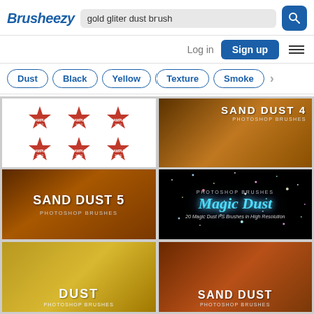[Figure (screenshot): Brusheezy website screenshot showing search results for 'gold gliter dust brush'. Header with logo, search bar, nav buttons. Filter tags: Dust, Black, Yellow, Texture, Smoke. Grid of brush thumbnails: red badge brushes, Sand Dust 4, Sand Dust 5, Magic Dust, Dust, Sand Dust preview images.]